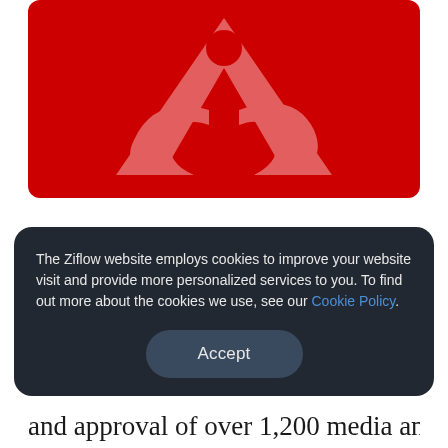[Figure (logo): Adobe Acrobat logo — red rounded rectangle background with large stylized 'A' letter mark in lighter red/pink]
Online proofing has come a long way in the 12 years since Mat and I launched
The Ziflow website employs cookies to improve your website visit and provide more personalized services to you. To find out more about the cookies we use, see our Cookie Policy.
Accept
and approval of over 1,200 media and files types,